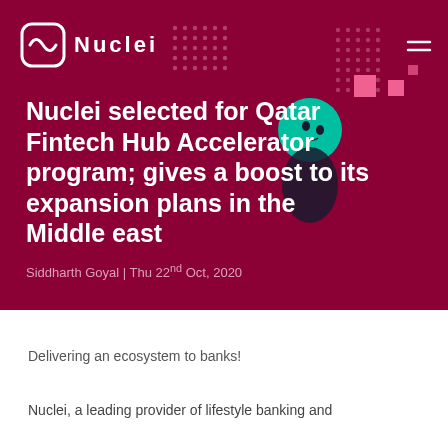Nuclei
Nuclei selected for Qatar Fintech Hub Accelerator program; gives a boost to its expansion plans in the Middle east
Siddharth Goyal | Thu 22nd Oct, 2020
Delivering an ecosystem to banks!
Nuclei, a leading provider of lifestyle banking and